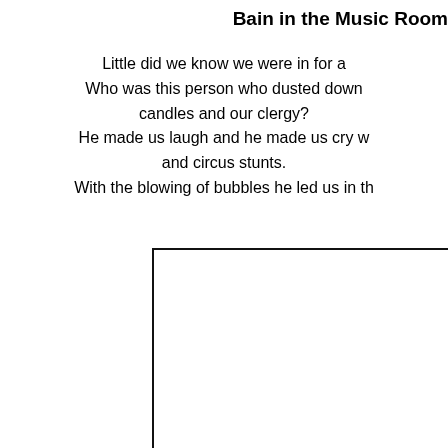Bain in the Music Room
Little did we know we were in for a
Who was this person who dusted down
candles and our clergy?
He made us laugh and he made us cry w
and circus stunts.
With the blowing of bubbles he led us in th
[Figure (other): A rectangular bordered box, with only the top and left sides visible (cropped at right and bottom edges of page), representing a framed image or photo placeholder.]